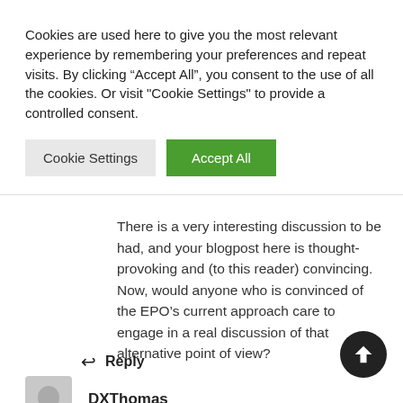Cookies are used here to give you the most relevant experience by remembering your preferences and repeat visits. By clicking “Accept All”, you consent to the use of all the cookies. Or visit "Cookie Settings" to provide a controlled consent.
Cookie Settings | Accept All
There is a very interesting discussion to be had, and your blogpost here is thought-provoking and (to this reader) convincing. Now, would anyone who is convinced of the EPO’s current approach care to engage in a real discussion of that alternative point of view?
Reply
DXThomas